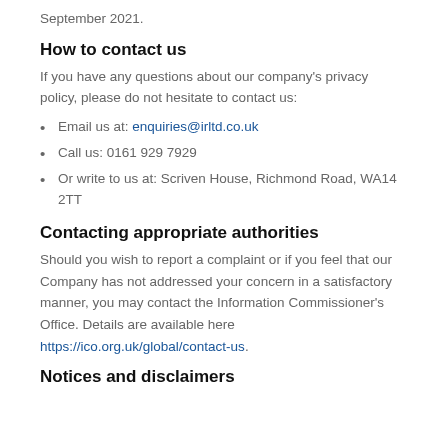September 2021.
How to contact us
If you have any questions about our company’s privacy policy, please do not hesitate to contact us:
Email us at: enquiries@irltd.co.uk
Call us: 0161 929 7929
Or write to us at: Scriven House, Richmond Road, WA14 2TT
Contacting appropriate authorities
Should you wish to report a complaint or if you feel that our Company has not addressed your concern in a satisfactory manner, you may contact the Information Commissioner’s Office. Details are available here https://ico.org.uk/global/contact-us.
Notices and disclaimers